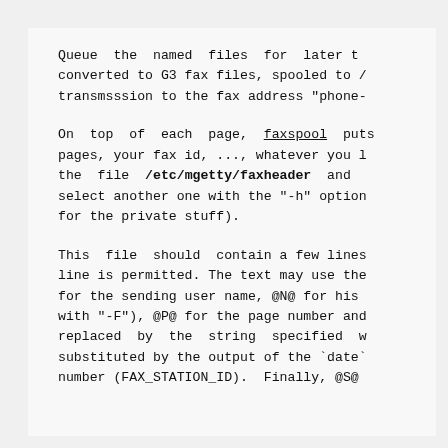Queue  the  named  files  for  later t converted to G3 fax files, spooled to / transmsssion to the fax address "phone-
On  top  of  each  page,  faxspool  puts pages, your fax id, ..., whatever you l the  file  /etc/mgetty/faxheader  and select another one with the "-h" option for the private stuff).
This  file  should  contain a few lines line is permitted. The text may use the for the sending user name, @N@ for his with "-F"), @P@ for the page number and replaced  by  the  string  specified  w substituted by the output of the `date` number (FAX_STATION_ID).  Finally, @S@